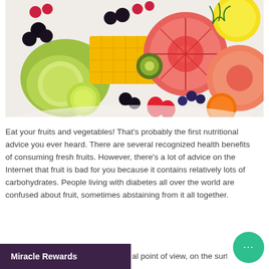[Figure (photo): Colorful plate of assorted fresh fruits including raspberries, blackberries, mango cubes, kiwi, grapefruit halves, lime slices, oranges, strawberries, blueberries, and lemon slices arranged on a white plate.]
Eat your fruits and vegetables! That's probably the first nutritional advice you ever heard. There are several recognized health benefits of consuming fresh fruits. However, there's a lot of advice on the Internet that fruit is bad for you because it contains relatively lots of carbohydrates. People living with diabetes all over the world are confused about fruit, sometimes abstaining from it all together.
al point of view, on the surface, it